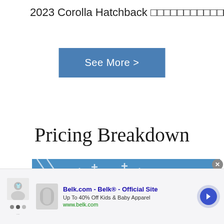2023 Corolla Hatchback □□□□□□□□□□□□□□□□
See More >
Pricing Breakdown
[Figure (photo): Advertisement image showing a white pickup truck on a blue background with plus/cross decorative elements and diagonal white lines]
[Figure (photo): Bottom banner advertisement for Belk.com showing kids apparel with text: Belk.com - Belk® - Official Site, Up To 40% Off Kids & Baby Apparel, www.belk.com]